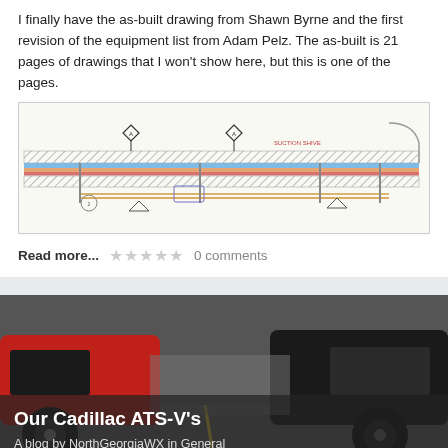I finally have the as-built drawing from Shawn Byrne and the first revision of the equipment list from Adam Pelz. The as-built is 21 pages of drawings that I won't show here, but this is one of the pages.
[Figure (engineering-diagram): As-built engineering/schematic drawing showing colored pipe/duct lines, symbols, and annotation labels]
Read more...   ☆☆☆☆☆  0 comments
[Figure (photo): Photo of two Cadillac ATS-V cars parked side by side on pavement, one red and one dark colored, viewed from the front/side. Overlay text reads: Our Cadillac ATS-V's — A blog by NorthGeorgiaWX in General]
40 entries   39 comments   3789 views
RECENT ENTRIES